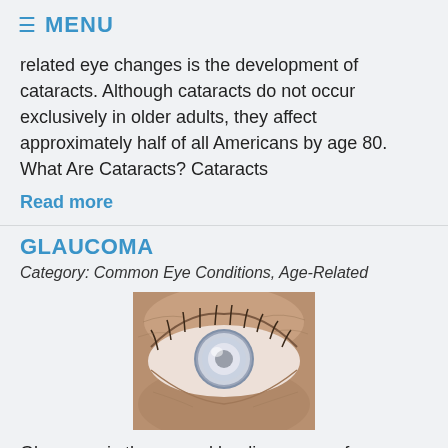≡ MENU
related eye changes is the development of cataracts. Although cataracts do not occur exclusively in older adults, they affect approximately half of all Americans by age 80. What Are Cataracts? Cataracts
Read more
GLAUCOMA
Category: Common Eye Conditions, Age-Related
[Figure (photo): Close-up photo of a human eye with a cloudy, milky-white cataract covering the pupil and iris, surrounded by wrinkled skin.]
Glaucoma is the second leading cause of blindness in